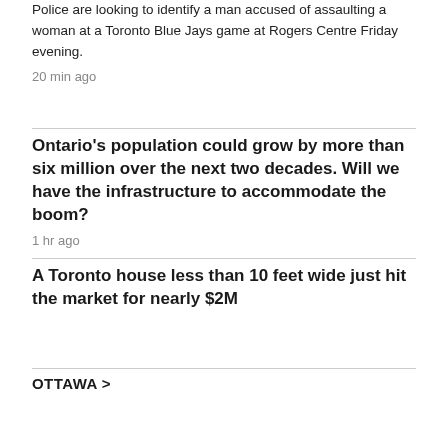Police are looking to identify a man accused of assaulting a woman at a Toronto Blue Jays game at Rogers Centre Friday evening.
20 min ago
Ontario's population could grow by more than six million over the next two decades. Will we have the infrastructure to accommodate the boom?
1 hr ago
A Toronto house less than 10 feet wide just hit the market for nearly $2M
OTTAWA >